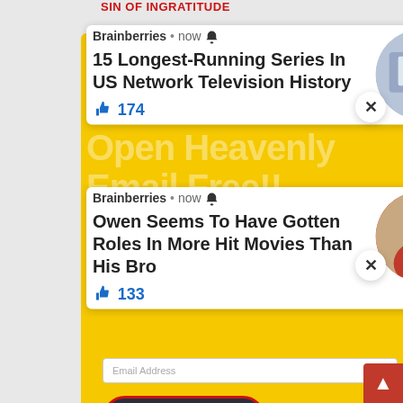SIN OF INGRATITUDE
[Figure (screenshot): Brainberries notification card 1: '15 Longest-Running Series In US Network Television History' with 174 likes and a circular TV show image]
[Figure (screenshot): Brainberries notification card 2: 'Owen Seems To Have Gotten Roles In More Hit Movies Than His Bro' with 133 likes and a circular image of Owen Wilson]
Open Heavenly
Email Free!!
Email Address
Sign Me Up